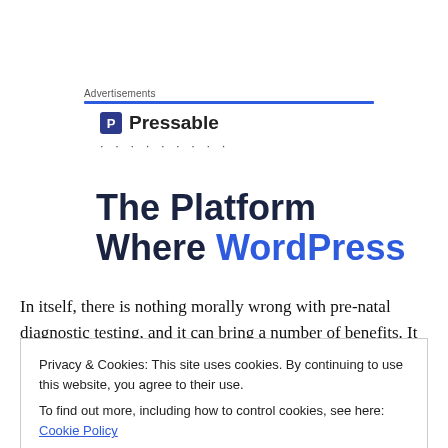Advertisements
[Figure (logo): Pressable logo with icon and dotted line below]
The Platform Where WordPress
In itself, there is nothing morally wrong with pre-natal diagnostic testing, and it can bring a number of benefits. It
Privacy & Cookies: This site uses cookies. By continuing to use this website, you agree to their use.
To find out more, including how to control cookies, see here: Cookie Policy
intervention that might be needed after the birth, and even